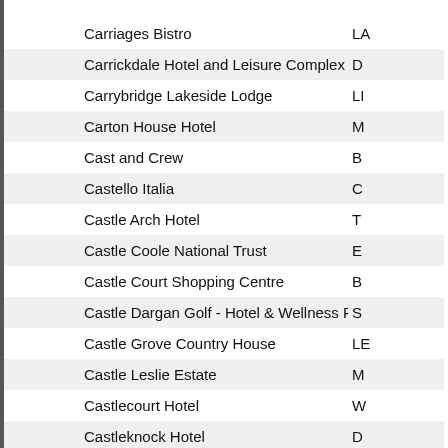| Name | Location |
| --- | --- |
| Carriages Bistro | LA… |
| Carrickdale Hotel and Leisure Complex | D… |
| Carrybridge Lakeside Lodge | LI… |
| Carton House Hotel | M… |
| Cast and Crew | B… |
| Castello Italia | C… |
| Castle Arch Hotel | T… |
| Castle Coole National Trust | E… |
| Castle Court Shopping Centre | B… |
| Castle Dargan Golf - Hotel & Wellness Resort | S… |
| Castle Grove Country House | LE… |
| Castle Leslie Estate | M… |
| Castlecourt Hotel | W… |
| Castleknock Hotel | D… |
| Castlemartyr Hotel | C… |
| Castletroy Park Hotel & Leisure Club | LI… |
| Cathedral View Bed & Breakfast | D… |
| Causeway Coast & Glens | B… |